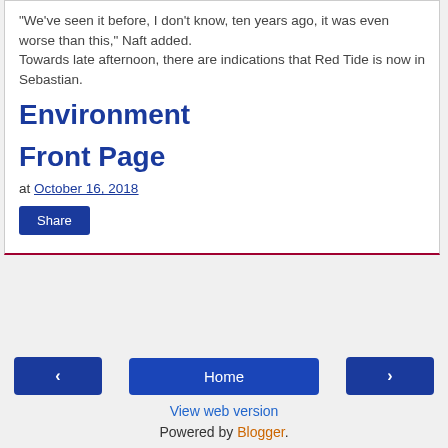"We've seen it before, I don't know, ten years ago, it was even worse than this," Naft added. Towards late afternoon, there are indications that Red Tide is now in Sebastian.
Environment
Front Page
at October 16, 2018
Share
‹  Home  ›  View web version  Powered by Blogger.